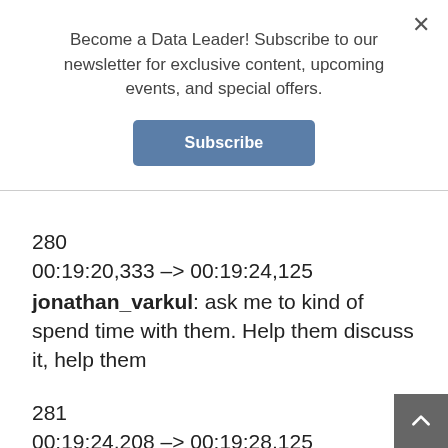Become a Data Leader! Subscribe to our newsletter for exclusive content, upcoming events, and special offers.
Subscribe
280
00:19:20,333 --> 00:19:24,125
jonathan_varkul: ask me to kind of spend time with them. Help them discuss it, help them
281
00:19:24,208 --> 00:19:28,125
jonathan_varkul: unpack it. And I was just in this experimental phase of seeing